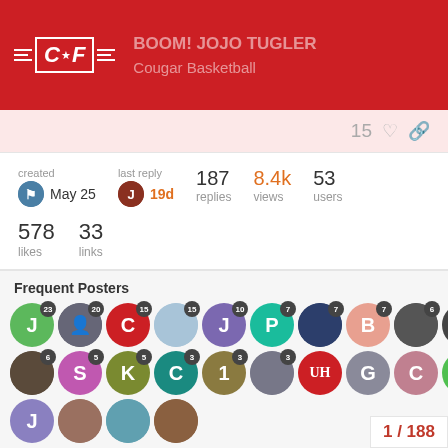BOOM! JOJO TUGLER - Cougar Basketball
15 likes
| created | last reply | replies | views | users |
| --- | --- | --- | --- | --- |
| May 25 | 19d | 187 | 8.4k | 53 |
578 likes  33 links
Frequent Posters
[Figure (other): Grid of user avatar circles with post-count badges for frequent posters]
Popular Links
149 Kelvin Sampson gets his secon... xas in Jojo Tugler – OTR EXPO...
1 / 188